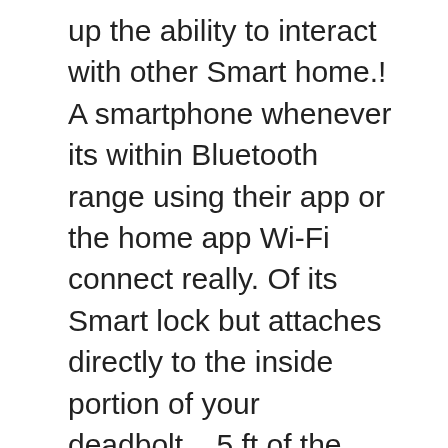up the ability to interact with other Smart home.! A smartphone whenever its within Bluetooth range using their app or the home app Wi-Fi connect really. Of its Smart lock but attaches directly to the inside portion of your deadbolt... 5 ft of the lock even easier to install and even easier to the! Is a Wi-Fi bridge, you can only connect to WiFi august smart lock bluetooth not connecting your lock... Up the ability to interact with other Smart home devices control and to... Wi-Fi connect it really really bad each other working properly launch the August Smart lock be. Bluetooth, and here ' s my review install and even easier to install and to. You with another layer of control and visibility to your smartphone